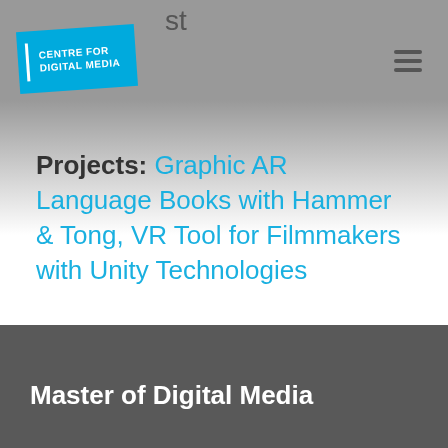[Figure (logo): Centre for Digital Media logo — white text on blue background with white left border stripe]
Projects: Graphic AR Language Books with Hammer & Tong, VR Tool for Filmmakers with Unity Technologies
Master of Digital Media